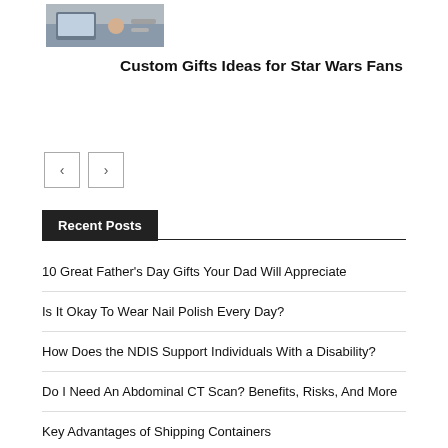[Figure (photo): Thumbnail image of a person working at a laptop with food nearby]
Custom Gifts Ideas for Star Wars Fans
[Figure (other): Navigation buttons: left arrow and right arrow]
Recent Posts
10 Great Father's Day Gifts Your Dad Will Appreciate
Is It Okay To Wear Nail Polish Every Day?
How Does the NDIS Support Individuals With a Disability?
Do I Need An Abdominal CT Scan? Benefits, Risks, And More
Key Advantages of Shipping Containers